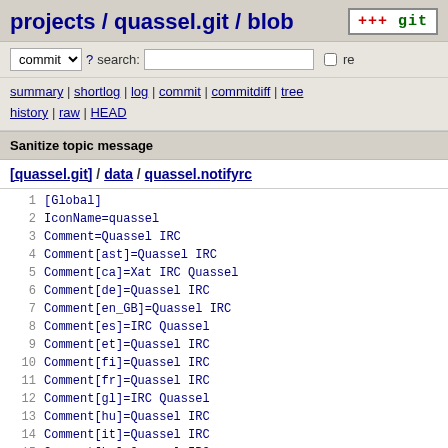projects / quassel.git / blob
commit ? search: re
summary | shortlog | log | commit | commitdiff | tree history | raw | HEAD
Sanitize topic message
[quassel.git] / data / quassel.notifyrc
1 [Global]
2 IconName=quassel
3 Comment=Quassel IRC
4 Comment[ast]=Quassel IRC
5 Comment[ca]=Xat IRC Quassel
6 Comment[de]=Quassel IRC
7 Comment[en_GB]=Quassel IRC
8 Comment[es]=IRC Quassel
9 Comment[et]=Quassel IRC
10 Comment[fi]=Quassel IRC
11 Comment[fr]=Quassel IRC
12 Comment[gl]=IRC Quassel
13 Comment[hu]=Quassel IRC
14 Comment[it]=Quassel IRC
15 Comment[ko]=Quassel IRC
16 Comment[nb]=Quassel IRC
17 Comment[nl]=Quassel IRC
18 Comment[oc]=Quassel IRC
19 Comment[pl]=Quassel IRC